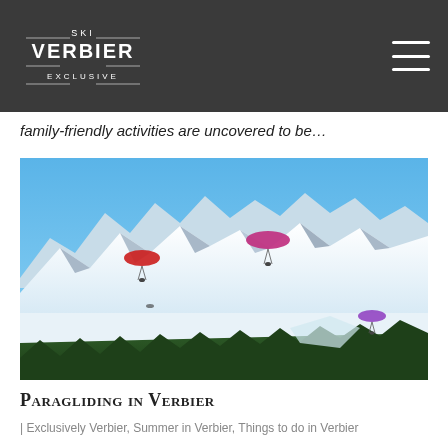SKI VERBIER EXCLUSIVE
family-friendly activities are uncovered to be…
[Figure (photo): Panoramic photo of snow-covered alpine mountains with three paragliders soaring above the peaks and forest-covered slopes under a bright blue sky.]
Paragliding in Verbier
| Exclusively Verbier, Summer in Verbier, Things to do in Verbier